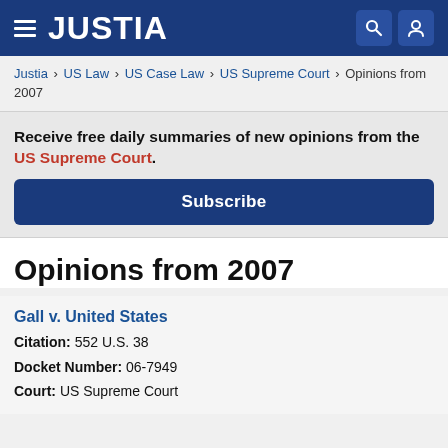JUSTIA
Justia › US Law › US Case Law › US Supreme Court › Opinions from 2007
Receive free daily summaries of new opinions from the US Supreme Court.
Subscribe
Opinions from 2007
Gall v. United States
Citation: 552 U.S. 38
Docket Number: 06-7949
Court: US Supreme Court